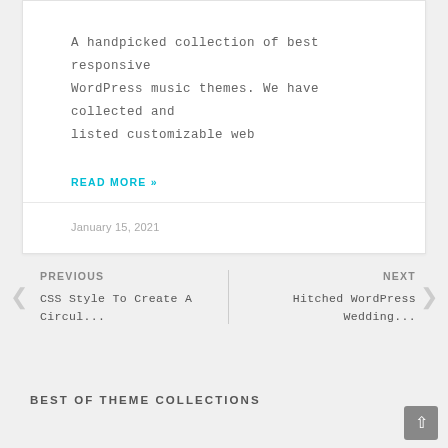A handpicked collection of best responsive WordPress music themes. We have collected and listed customizable web
READ MORE »
January 15, 2021
PREVIOUS
CSS Style To Create A Circul...
NEXT
Hitched WordPress Wedding...
BEST OF THEME COLLECTIONS